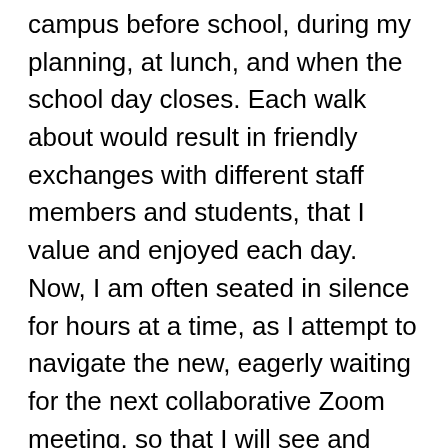campus before school, during my planning, at lunch, and when the school day closes. Each walk about would result in friendly exchanges with different staff members and students, that I value and enjoyed each day. Now, I am often seated in silence for hours at a time, as I attempt to navigate the new, eagerly waiting for the next collaborative Zoom meeting, so that I will see and work together with my friends and colleagues. My boys are present in my work space with me until their work for the day is complete, then they disappear to do their own thing, while the other two members of our household are essential workers, and spend their days away from home. All this to say, though I was intentional most of the time